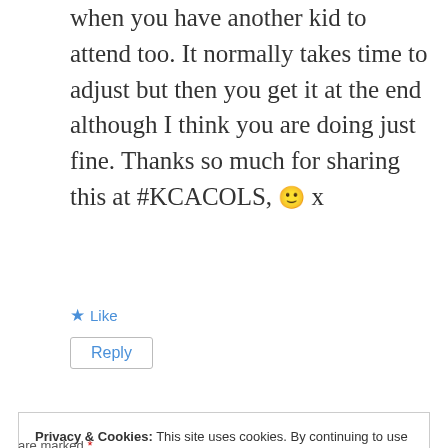when you have another kid to attend too. It normally takes time to adjust but then you get it at the end although I think you are doing just fine. Thanks so much for sharing this at #KCACOLS, 🙂 x
★ Like
Reply
Privacy & Cookies: This site uses cookies. By continuing to use this website, you agree to their use.
To find out more, including how to control cookies, see here:
Cookie Policy
Close and accept
are marked *